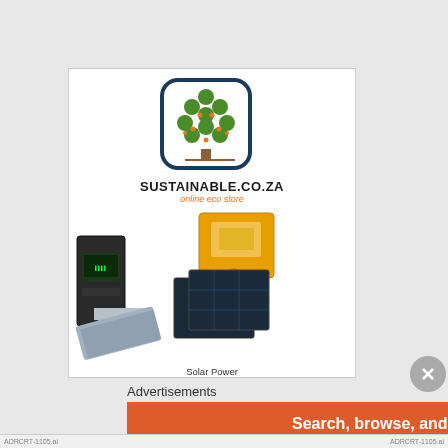[Figure (logo): Sustainable.co.za logo: stylized tree with green leaves and orange dots inside a dark blue rounded square border]
SUSTAINABLE.CO.ZA
online eco store
[Figure (photo): Product images: yellow inverter/solar unit, black charge controller device, dark blue solar panels, and solar water heating system with collector panels]
Solar Power
Solar Water Heating
Wind Power
Advertisements
[Figure (infographic): DuckDuckGo advertisement banner: orange background with text 'Search, browse, and email with more privacy. All in One Free App' and DuckDuckGo logo on dark right panel]
[Figure (other): Close/dismiss button: grey circle with X symbol]